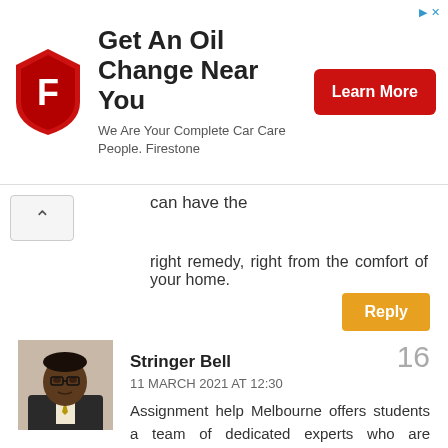[Figure (other): Firestone advertisement banner: logo shield with F, text 'Get An Oil Change Near You', 'We Are Your Complete Car Care People. Firestone', red Learn More button]
can have the
right remedy, right from the comfort of your home.
Reply
[Figure (photo): Profile photo of a man in a suit with a tie]
Stringer Bell
11 MARCH 2021 AT 12:30
Assignment help Melbourne offers students a team of dedicated experts who are professionals in writing assignments which can be on different subjects such as marketing, finance, nursing or accountancy at a very nominal fee. These professional academic writers offer a simple solution to all of your assignment help